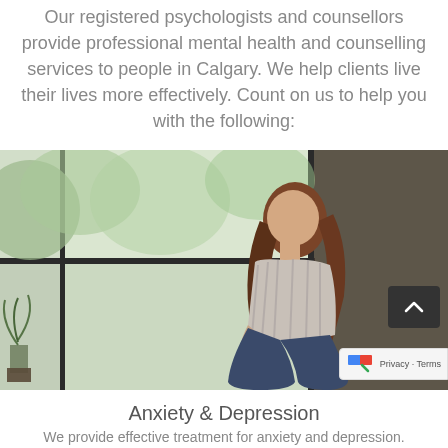Our registered psychologists and counsellors provide professional mental health and counselling services to people in Calgary. We help clients live their lives more effectively. Count on us to help you with the following:
[Figure (photo): A young woman with long brown hair sits by a large window, viewed from the side, looking outside. Green trees are visible through the window panes. A small plant is visible on the left.]
Anxiety & Depression
We provide effective treatment for anxiety and depression.